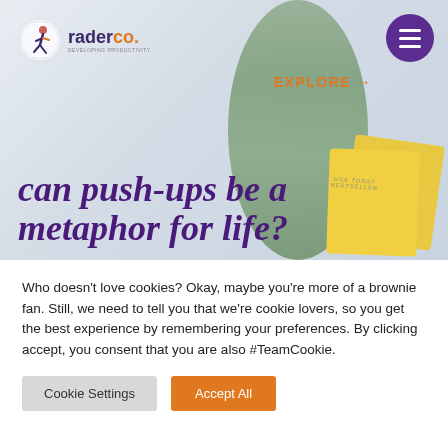[Figure (screenshot): RaderCo website header with logo top-left, circular purple hamburger menu icon top-right, orange EXPLORE arrow link, blurred plant background, yellow book covers bottom-right]
can push-ups be a metaphor for life?
Who doesn't love cookies? Okay, maybe you're more of a brownie fan. Still, we need to tell you that we're cookie lovers, so you get the best experience by remembering your preferences. By clicking accept, you consent that you are also #TeamCookie.
Cookie Settings
Accept All